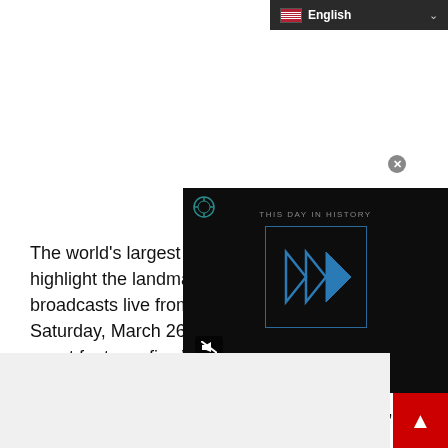[Figure (screenshot): Language selector dropdown bar showing US flag and 'English' text with chevron on dark background]
[Figure (screenshot): Video player overlay on dark background showing 'THIS DAY IN HISTORY' with blue double-arrow play button, mute icon, and 'AUGUST' label]
The world's largest m... highlight the landmark... broadcasts live from... Saturday, March 26, 2022. The three part massive event features five World Title fights and 20 bouts in total, spanning mixed martial arts, Muay Thai, kickb... watc...
[Figure (screenshot): Gray/light bottom box overlay partially covering text]
[Figure (screenshot): Red scroll-to-top button with white upward arrow in bottom right corner]